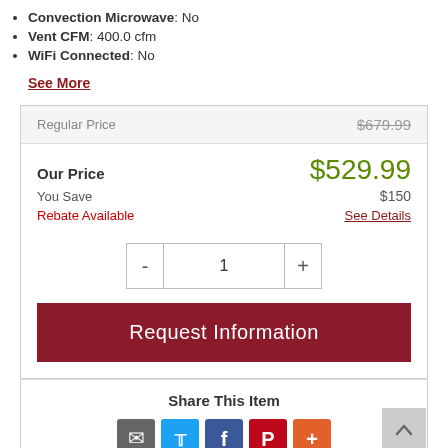Convection Microwave: No
Vent CFM: 400.0 cfm
WiFi Connected: No
See More
| Label | Value |
| --- | --- |
| Regular Price | $679.99 |
| Our Price | $529.99 |
| You Save | $150 |
| Rebate Available | See Details |
Request Information
Share This Item
Share icons: Email, Twitter, Facebook, Pinterest, More